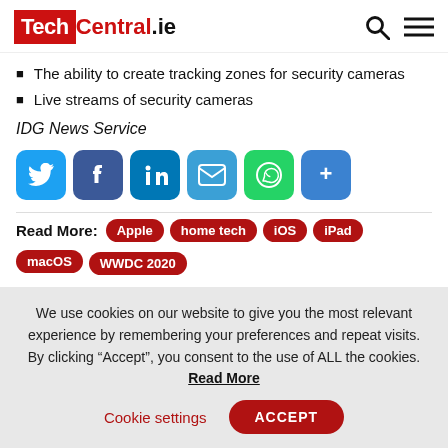TechCentral.ie
The ability to create tracking zones for security cameras
Live streams of security cameras
IDG News Service
[Figure (infographic): Social share buttons: Twitter, Facebook, LinkedIn, Email, WhatsApp, Share]
Read More: Apple home tech iOS iPad macOS WWDC 2020
We use cookies on our website to give you the most relevant experience by remembering your preferences and repeat visits. By clicking “Accept”, you consent to the use of ALL the cookies. Read More